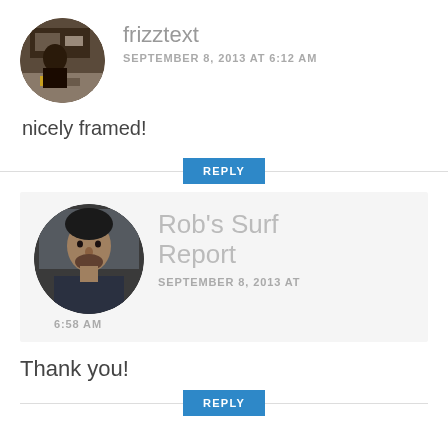[Figure (photo): Circular avatar photo of user frizztext showing a person at what appears to be a workshop or desk scene]
frizztext
SEPTEMBER 8, 2013 AT 6:12 AM
nicely framed!
REPLY
[Figure (photo): Circular avatar photo of Rob's Surf Report showing a man's face in dark tones]
Rob's Surf Report
SEPTEMBER 8, 2013 AT 6:58 AM
Thank you!
REPLY